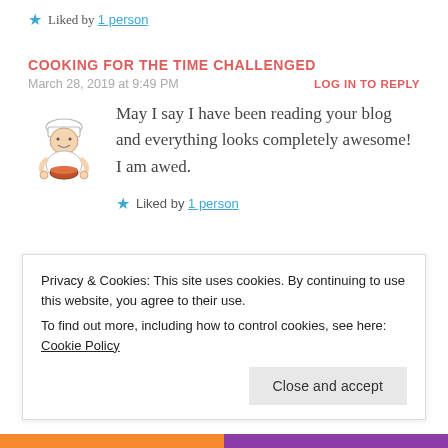Liked by 1 person
COOKING FOR THE TIME CHALLENGED
March 28, 2019 at 9:49 PM
LOG IN TO REPLY
May I say I have been reading your blog and everything looks completely awesome! I am awed.
Liked by 1 person
Privacy & Cookies: This site uses cookies. By continuing to use this website, you agree to their use. To find out more, including how to control cookies, see here: Cookie Policy